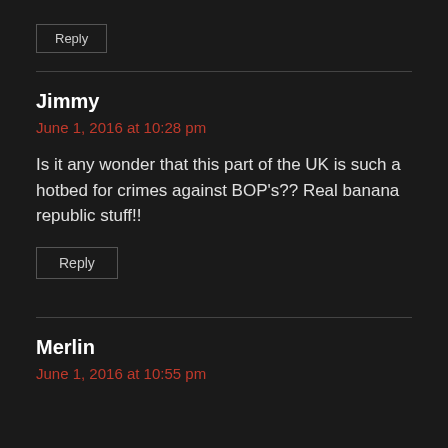Reply
Jimmy
June 1, 2016 at 10:28 pm
Is it any wonder that this part of the UK is such a hotbed for crimes against BOP's?? Real banana republic stuff!!
Reply
Merlin
June 1, 2016 at 10:55 pm